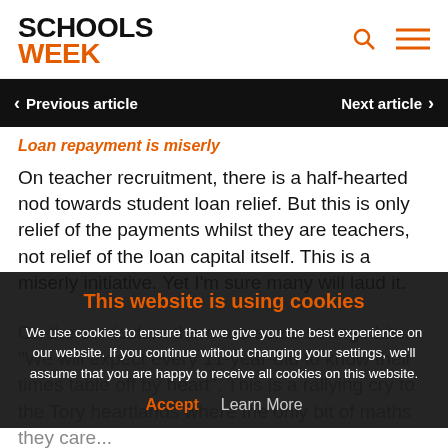SCHOOLS WEEK
Previous article | Next article
Loan repayment is miserly
On teacher recruitment, there is a half-hearted nod towards student loan relief. But this is only relief of the payments whilst they are teachers, not relief of the loan capital itself. This is a miserly initiative. Yet I’m sure many will laud it.
This website is using cookies
We use cookies to ensure that we give you the best experience on our website. If you continue without changing your settings, we'll assume that you are happy to receive all cookies on this website.
Accept   Learn More
On the curriculum there are some strange bits. “We will expect every 11-year-old to know their times table off by heart”. This is a rallying cry to the Tory heartlands where the only bit of maths they care...